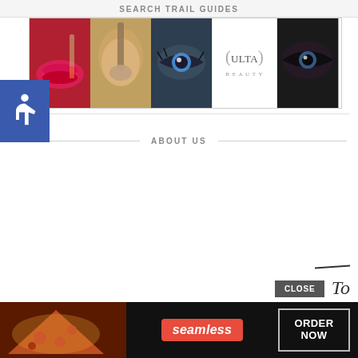SEARCH TRAIL GUIDES
[Figure (photo): Ulta Beauty advertisement banner with makeup/cosmetics images (lips, brush, eye, Ulta logo, smoky eye), with SHOP NOW call to action]
[Figure (logo): Accessibility wheelchair icon on blue background]
ABOUT US
[Figure (screenshot): Close button overlay (dark gray rectangle labeled CLOSE) with handwritten-style 'To' text and overline]
[Figure (photo): Seamless food delivery advertisement banner with pizza image, Seamless logo in red pill, and ORDER NOW button]